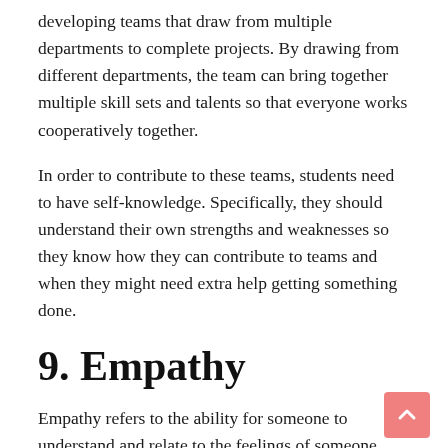developing teams that draw from multiple departments to complete projects. By drawing from different departments, the team can bring together multiple skill sets and talents so that everyone works cooperatively together.
In order to contribute to these teams, students need to have self-knowledge. Specifically, they should understand their own strengths and weaknesses so they know how they can contribute to teams and when they might need extra help getting something done.
9. Empathy
Empathy refers to the ability for someone to understand and relate to the feelings of someone else. It may not seem like this is something people need in business, but empathy is important for interpersonal relationships and communication.
In business, empathy helps create and maintain relationships, such as the relationship between a company and its customers